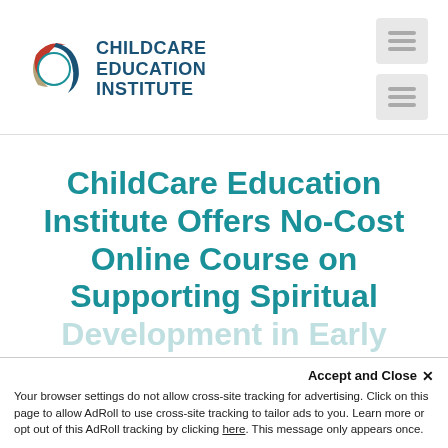[Figure (logo): ChildCare Education Institute logo with circular red, blue and tan swirl icon and bold dark blue text]
ChildCare Education Institute Offers No-Cost Online Course on Supporting Spiritual
Accept and Close ×
Your browser settings do not allow cross-site tracking for advertising. Click on this page to allow AdRoll to use cross-site tracking to tailor ads to you. Learn more or opt out of this AdRoll tracking by clicking here. This message only appears once.